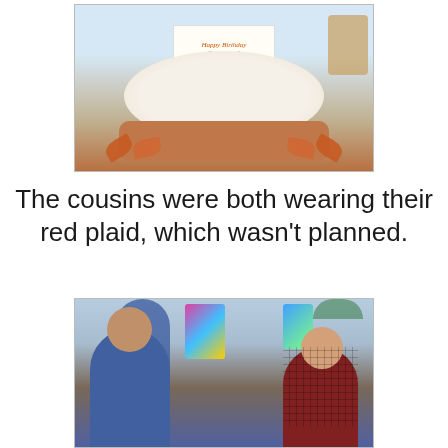[Figure (photo): A birthday cake decorated with Mickey Mouse, Minnie Mouse, Donald Duck, and Goofy figurines, with a sign reading 'Happy Birthday Francesca!' and fall leaf decorations around the base.]
The cousins were both wearing their red plaid, which wasn't planned.
[Figure (photo): Two young children at an outdoor party. On the left is a toddler in a denim jacket looking at the camera; on the right is a slightly older child in a red plaid shirt. An adult woman with curly hair is visible in the background, along with colorful gift bags.]